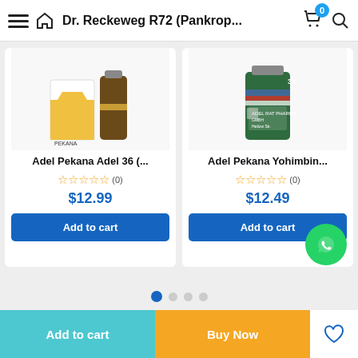Dr. Reckeweg R72 (Pankrop...
[Figure (photo): Product photo of Adel Pekana Adel 36 homeopathic drops with yellow triangle packaging]
Adel Pekana Adel 36 (...
☆☆☆☆☆ (0)
$12.99
Add to cart
[Figure (photo): Product photo of Adel Pekana Yohimbinum 3X homeopathic remedy in green bottle]
Adel Pekana Yohimbin...
☆☆☆☆☆ (0)
$12.49
Add to cart
Add to cart
Buy Now